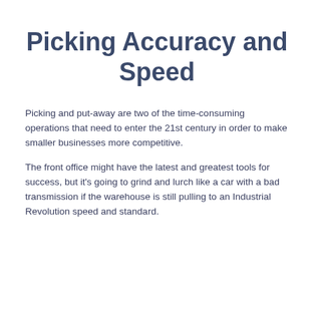Picking Accuracy and Speed
Picking and put-away are two of the time-consuming operations that need to enter the 21st century in order to make smaller businesses more competitive.
The front office might have the latest and greatest tools for success, but it’s going to grind and lurch like a car with a bad transmission if the warehouse is still pulling to an Industrial Revolution speed and standard.